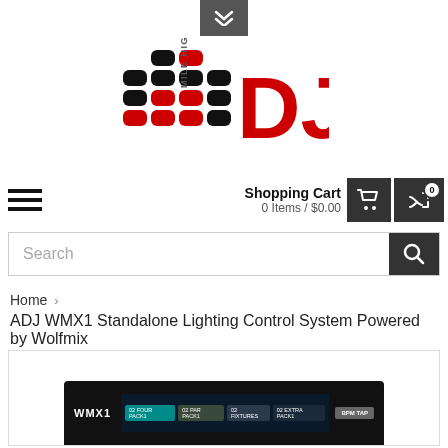[Figure (logo): Mile High DJ logo with red and black equalizer bars and red DJ text]
Shopping Cart
0 Items / $0.00
Search
Home > ADJ WMX1 Standalone Lighting Control System Powered by Wolfmix
[Figure (photo): ADJ WMX1 device - a black standalone lighting controller with WMX1 label, teal display screen showing menu tabs, and BPM TAP button]